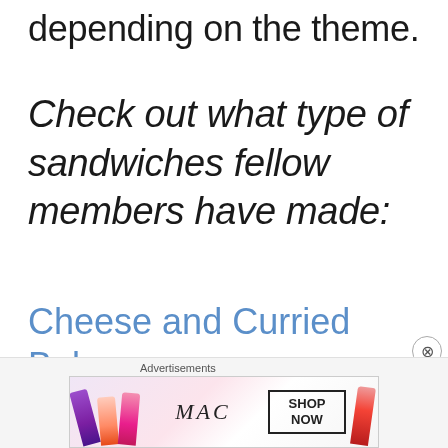depending on the theme.
Check out what type of sandwiches fellow members have made:
Cheese and Curried Babycorn Sandwich by Priya Iyer
[Figure (screenshot): MAC cosmetics advertisement banner showing colorful lipsticks with MAC logo and SHOP NOW button]
Advertisements